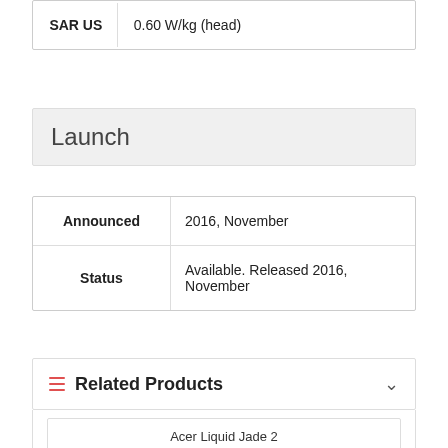| SAR US | 0.60 W/kg (head) &nbsp &nbsp |
Launch
| Announced | 2016, November |
| Status | Available. Released 2016, November |
Related Products
Acer Liquid Jade 2